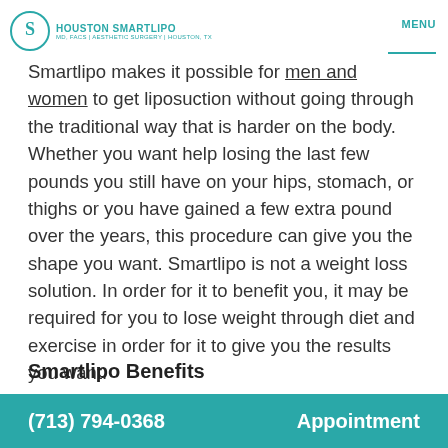Houston Smartlipo | MENU
Smartlipo makes it possible for men and women to get liposuction without going through the traditional way that is harder on the body. Whether you want help losing the last few pounds you still have on your hips, stomach, or thighs or you have gained a few extra pound over the years, this procedure can give you the shape you want. Smartlipo is not a weight loss solution. In order for it to benefit you, it may be required for you to lose weight through diet and exercise in order for it to give you the results you want.
Smartlipo Benefits
(713) 794-0368    Appointment